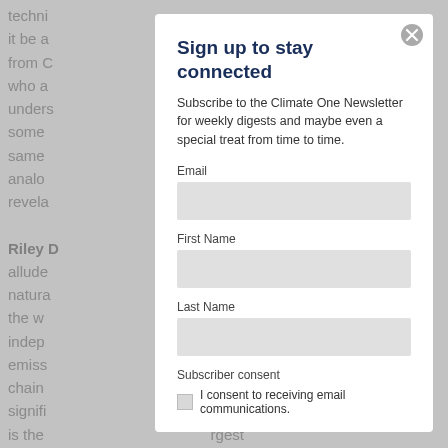techni... g. Will it be a... ng from C... ties who a... underst... at some ... the same ... e an analog... g revela... Riley D... allude... or natura... und the wo... usted, indepe... emissio... ply chains... fairly signifi... nome is the l... rgest
Sign up to stay connected
Subscribe to the Climate One Newsletter for weekly digests and maybe even a special treat from time to time.
Email
First Name
Last Name
Subscriber consent
I consent to receiving email communications.